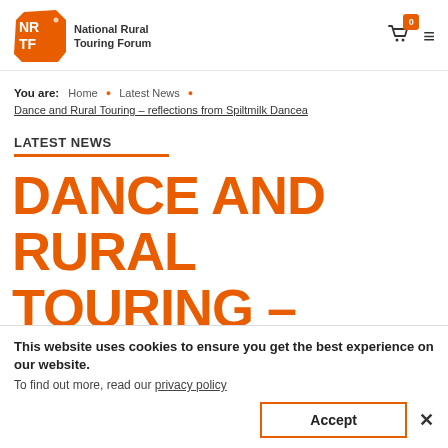National Rural Touring Forum
You are: Home • Latest News • Dance and Rural Touring – reflections from Spiltmilk Dancea
LATEST NEWS
DANCE AND RURAL TOURING –
This website uses cookies to ensure you get the best experience on our website. To find out more, read our privacy policy
Accept